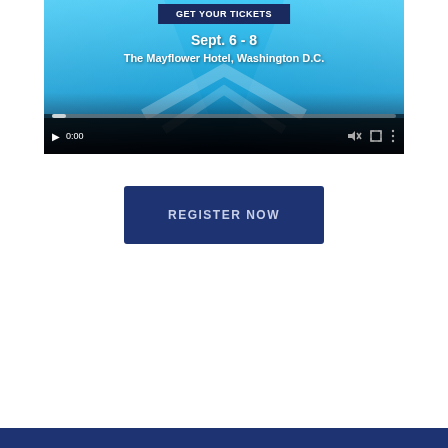[Figure (screenshot): Video player screenshot showing an event promo for 'GET YOUR TICKETS' with date Sept. 6 - 8 at The Mayflower Hotel, Washington D.C., with video controls showing 0:00 timestamp and a progress bar at the bottom.]
REGISTER NOW